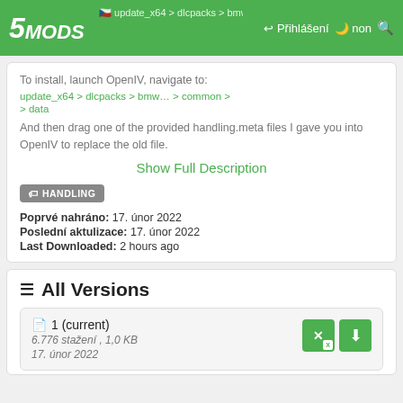5MODS — navigation bar with logo, Czech flag, Přihlášení login, breadcrumb path: update_x64 > dlcpacks > bmw... > common > data
To install, launch OpenIV, navigate to:
update_x64 > dlcpacks > bmw... > common > data
And then drag one of the provided handling.meta files I gave you into OpenIV to replace the old file.
Show Full Description
HANDLING
Poprvé nahráno: 17. únor 2022
Poslední aktulizace: 17. únor 2022
Last Downloaded: 2 hours ago
All Versions
1 (current)
6.776 stažení , 1,0 KB
17. únor 2022